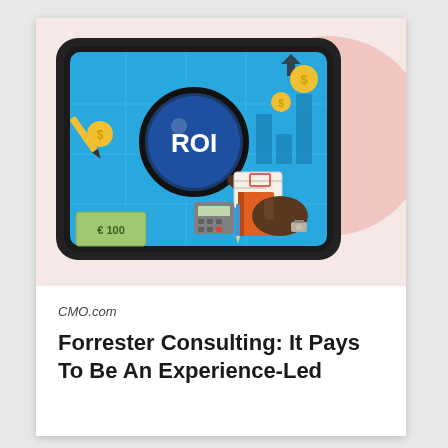[Figure (illustration): A tablet device displaying an ROI concept illustration: a large magnifying glass with 'ROI' text on blue background, surrounded by coins, a calculator, euro banknote, phone/book and a hand pointing.]
CMO.com
Forrester Consulting: It Pays To Be An Experience-Led